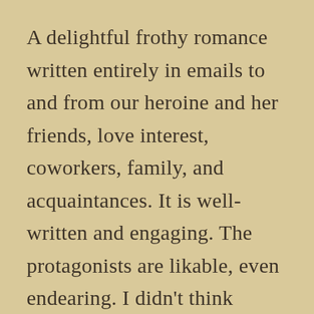A delightful frothy romance written entirely in emails to and from our heroine and her friends, love interest, coworkers, family, and acquaintances. It is well-written and engaging. The protagonists are likable, even endearing. I didn't think anything could be lighter than Sophie Kinsella, but apparently Meg